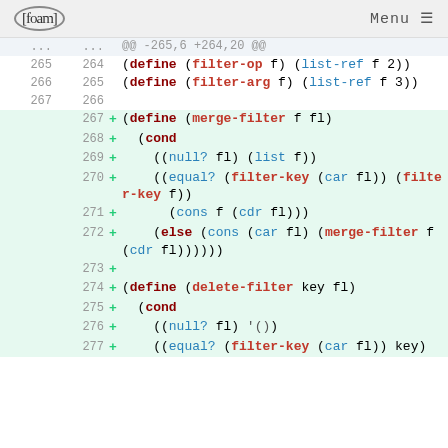[foam] Menu
[Figure (screenshot): Git diff view showing Scheme code. Lines 265-277+ with additions highlighted in green. Code defines filter-op, filter-arg, merge-filter, and delete-filter functions.]